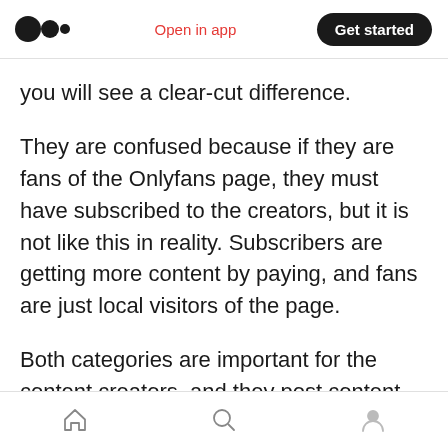Medium logo | Open in app | Get started
you will see a clear-cut difference.
They are confused because if they are fans of the Onlyfans page, they must have subscribed to the creators, but it is not like this in reality. Subscribers are getting more content by paying, and fans are just local visitors of the page.
Both categories are important for the content creators, and they post content for both. But for, the subscribers have to work more and provide them with better versions and features because
Home | Search | Profile